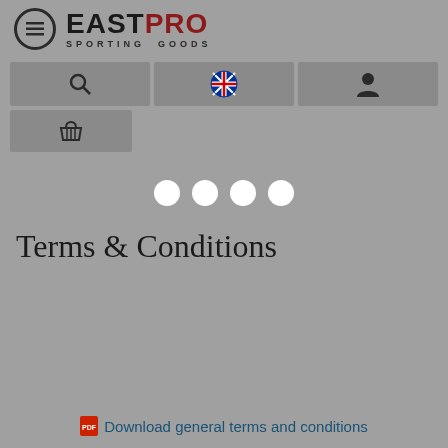[Figure (screenshot): EastPro Sporting Goods website header with logo, navigation icons (search, language, account, cart), loading dots, and Terms & Conditions page title with a download link.]
Terms & Conditions
Download general terms and conditions